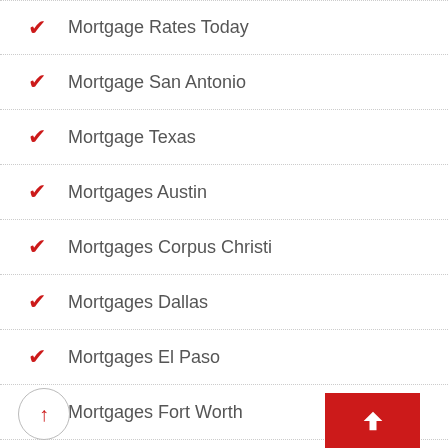Mortgage Rates Today
Mortgage San Antonio
Mortgage Texas
Mortgages Austin
Mortgages Corpus Christi
Mortgages Dallas
Mortgages El Paso
Mortgages Fort Worth
Mortgages Grand Prairie
Mortgages Houston